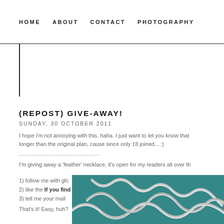HOME   ABOUT   CONTACT   PHOTOGRAPHY
(REPOST) GIVE-AWAY!
SUNDAY, 30 OCTOBER 2011
I hope i'm not annoying with this. haha. I just want to let you know that longer than the original plan, cause since only 18 joined... :)
--------------------------------------------
I'm giving away a 'feather' necklace, it's open for my readers all over th
1) follow me with gfc
2) like the If you find style facebook page (click)
3) tell me your mail
That's it! Easy, huh?
[Figure (photo): Photo of silver chain necklaces on a teal/green fabric background]